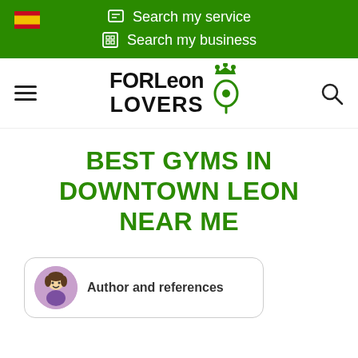Search my service | Search my business
[Figure (logo): FORLeon LOVERS logo with location pin icon and crown]
BEST GYMS IN DOWNTOWN LEON NEAR ME
Author and references